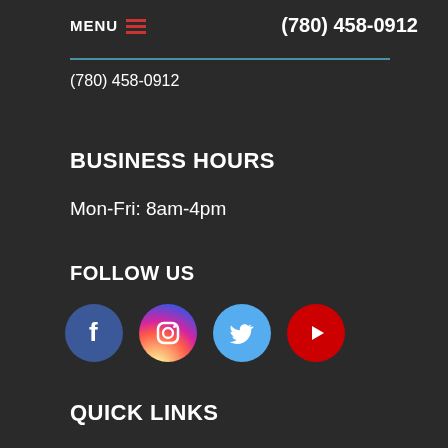MENU  (780) 458-0912
(780) 458-0912
BUSINESS HOURS
Mon-Fri: 8am-4pm
FOLLOW US
[Figure (infographic): Four social media icons in circles: Facebook (blue), Instagram (pink/purple gradient), Twitter (light blue), YouTube (red with play button)]
QUICK LINKS